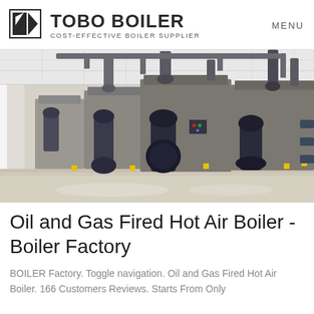TOBO BOILER COST-EFFECTIVE BOILER SUPPLIER | MENU
[Figure (photo): Industrial boiler room with multiple oil and gas fired hot air boilers installed in a row, showing large cylindrical units with blue-grey burner assemblies and piping, in a clean white facility with reflective floors.]
Oil and Gas Fired Hot Air Boiler - Boiler Factory
BOILER Factory. Toggle navigation. Oil and Gas Fired Hot Air Boiler. 166 Customers Reviews. Starts From Only